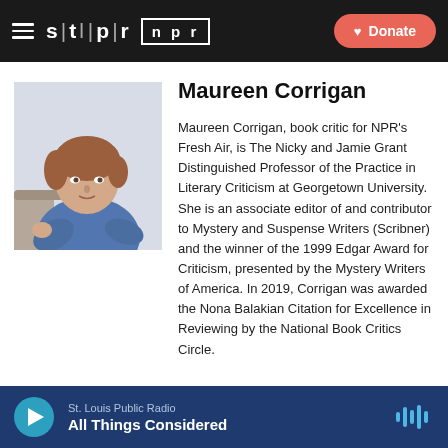≡ stlpr | npr  ♥ Donate
[Figure (photo): Portrait photo of Maureen Corrigan, a woman with short reddish-brown hair wearing a blue long-sleeve top, seated casually]
Maureen Corrigan
Maureen Corrigan, book critic for NPR's Fresh Air, is The Nicky and Jamie Grant Distinguished Professor of the Practice in Literary Criticism at Georgetown University. She is an associate editor of and contributor to Mystery and Suspense Writers (Scribner) and the winner of the 1999 Edgar Award for Criticism, presented by the Mystery Writers of America. In 2019, Corrigan was awarded the Nona Balakian Citation for Excellence in Reviewing by the National Book Critics Circle.
St. Louis Public Radio  All Things Considered